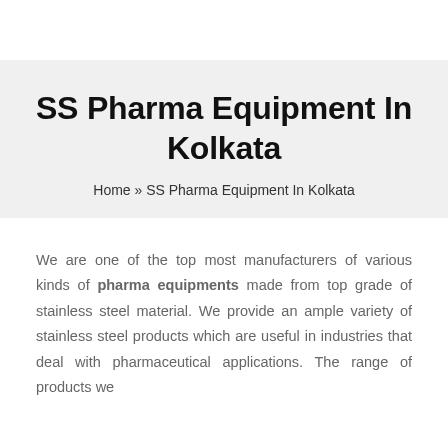SS Pharma Equipment In Kolkata
Home » SS Pharma Equipment In Kolkata
We are one of the top most manufacturers of various kinds of pharma equipments made from top grade of stainless steel material. We provide an ample variety of stainless steel products which are useful in industries that deal with pharmaceutical applications. The range of products we